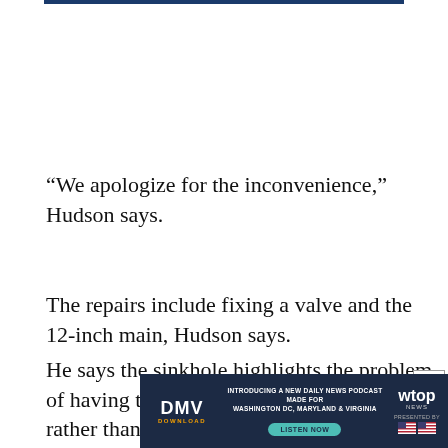“We apologize for the inconvenience,” Hudson says.
The repairs include fixing a valve and the 12-inch main, Hudson says.
He says the sinkhole highlights the problem of having to repair aging and failing pipes, rather than replacing them.
“You have a certain number of assets and a certa...
[Figure (other): Advertisement banner for DMV Download podcast, a daily news podcast for Washington DC, Maryland and Virginia, presented by WTOP news. Contains DMV Download logo, text 'INTRODUCING A NEW DAILY NEWS PODCAST MADE FOR WASHINGTON DC, MARYLAND & VIRGINIA', LISTEN NOW button, and WTOP news logo with PRESENTED BY and flag icons.]